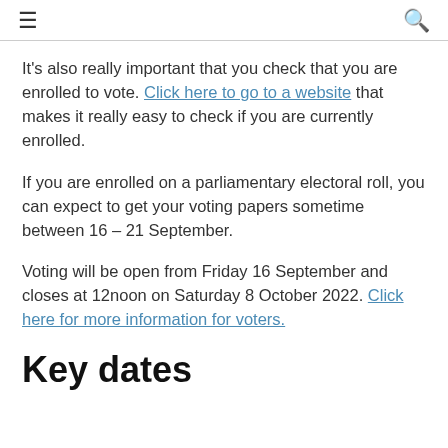☰  🔍
It's also really important that you check that you are enrolled to vote. Click here to go to a website that makes it really easy to check if you are currently enrolled.
If you are enrolled on a parliamentary electoral roll, you can expect to get your voting papers sometime between 16 – 21 September.
Voting will be open from Friday 16 September and closes at 12noon on Saturday 8 October 2022. Click here for more information for voters.
Key dates